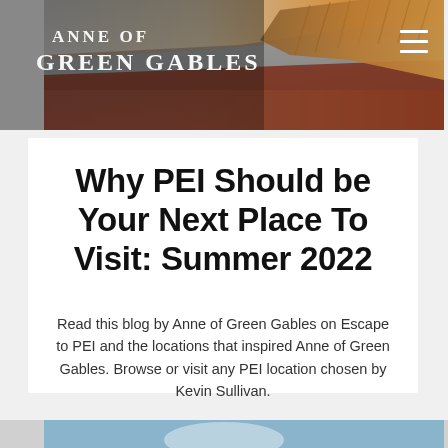[Figure (photo): Header banner showing PEI coastal landscape with red cliffs, beach, and golden marsh grass. Anne of Green Gables logo text overlay on left and hamburger menu icon on right.]
Why PEI Should be Your Next Place To Visit: Summer 2022
Read this blog by Anne of Green Gables on Escape to PEI and the locations that inspired Anne of Green Gables. Browse or visit any PEI location chosen by Kevin Sullivan.
[Figure (photo): Partial bottom image strip, appears to show a blue sky/water scene, cropped at page bottom.]